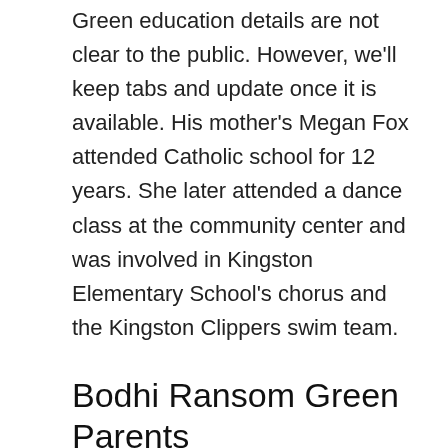Green education details are not clear to the public. However, we'll keep tabs and update once it is available. His mother's Megan Fox attended Catholic school for 12 years. She later attended a dance class at the community center and was involved in Kingston Elementary School's chorus and the Kingston Clippers swim team.
Bodhi Ransom Green Parents
Green was born and raised by her parents Megan Fox and Brian Austin Green in the USA. Megan Fox and Brian Austin Green's relationship began after meeting on the set of 'Hope & Faith' in 2004. Brian Austin Green already had a son with ex-partner actress Vanessa Marcil who was 12 years